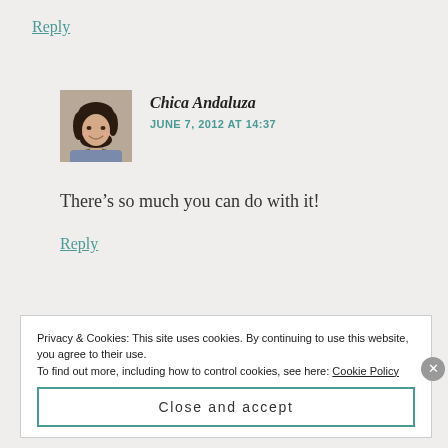Reply
[Figure (photo): Profile photo of Chica Andaluza, a woman with dark hair, smiling]
Chica Andaluza
JUNE 7, 2012 AT 14:37
There’s so much you can do with it!
Reply
Privacy & Cookies: This site uses cookies. By continuing to use this website, you agree to their use.
To find out more, including how to control cookies, see here: Cookie Policy
Close and accept